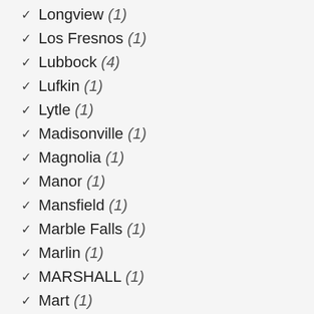Longview (1)
Los Fresnos (1)
Lubbock (4)
Lufkin (1)
Lytle (1)
Madisonville (1)
Magnolia (1)
Manor (1)
Mansfield (1)
Marble Falls (1)
Marlin (1)
MARSHALL (1)
Mart (1)
Mathis (1)
Mc Gregor (1)